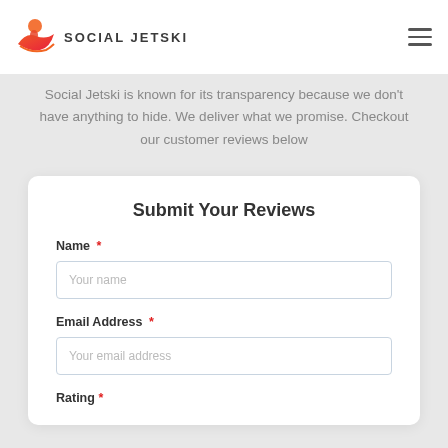Social Jetski logo and navigation
Social Jetski is known for its transparency because we don't have anything to hide. We deliver what we promise. Checkout our customer reviews below
Submit Your Reviews
Name *
Your name
Email Address *
Your email address
Rating *